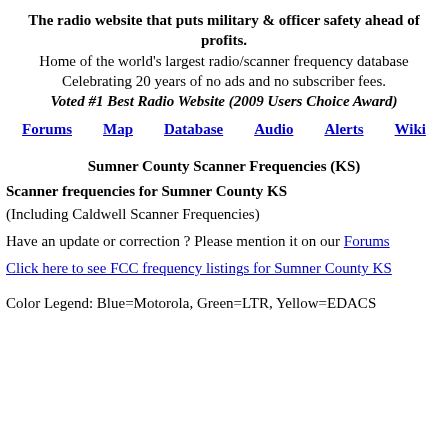The radio website that puts military & officer safety ahead of profits.
Home of the world's largest radio/scanner frequency database
Celebrating 20 years of no ads and no subscriber fees.
Voted #1 Best Radio Website (2009 Users Choice Award)
Forums | Map | Database | Audio | Alerts | Wiki
Sumner County Scanner Frequencies (KS)
Scanner frequencies for Sumner County KS
(Including Caldwell Scanner Frequencies)
Have an update or correction ? Please mention it on our Forums
Click here to see FCC frequency listings for Sumner County KS
Color Legend: Blue=Motorola, Green=LTR, Yellow=EDACS